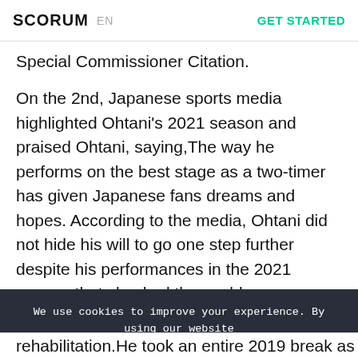SCORUM  EN  GET STARTED
Special Commissioner Citation.
On the 2nd, Japanese sports media highlighted Ohtani's 2021 season and praised Ohtani, saying,The way he performs on the best stage as a two-timer has given Japanese fans dreams and hopes. According to the media, Ohtani did not hide his will to go one step further despite his performances in the 2021 season that shocked the world.
We use cookies to improve your experience. By using our website you are accepting our Privacy Policy.
OK
rehabilitation.He took an entire 2019 break as a